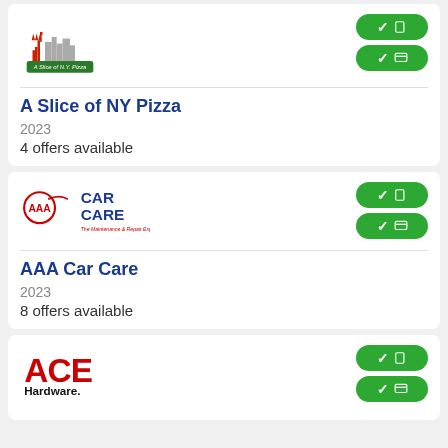[Figure (logo): A Slice of NY Pizza logo with Statue of Liberty graphic]
A Slice of NY Pizza
2023
4 offers available
[Figure (logo): AAA Car Care logo - The Maintenance & Repair Experts]
AAA Car Care
2023
8 offers available
[Figure (logo): ACE Hardware logo in red and black]